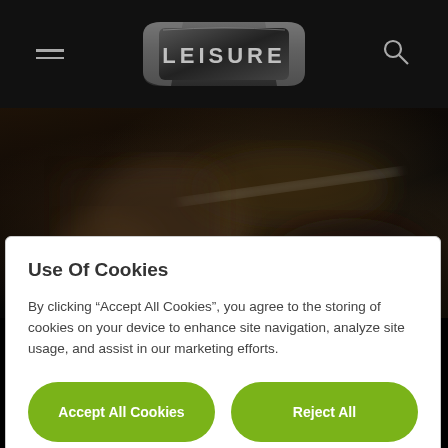[Figure (logo): Leisure brand logo badge in metallic dark style with the word LEISURE in silver letters on a black rounded rectangle badge]
[Figure (photo): Dark blurry background image showing what appears to be a vehicle interior or automotive scene in dark browns and blacks]
Use Of Cookies
By clicking “Accept All Cookies”, you agree to the storing of cookies on your device to enhance site navigation, analyze site usage, and assist in our marketing efforts.
Accept All Cookies
Reject All
Manage Cookies